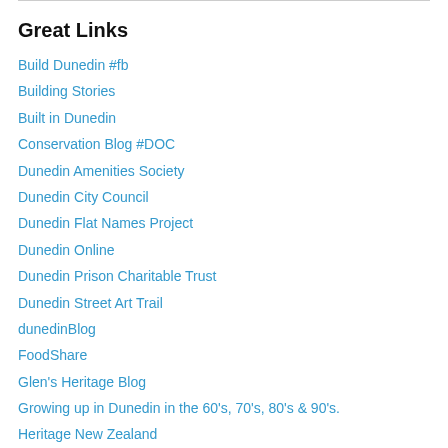Great Links
Build Dunedin #fb
Building Stories
Built in Dunedin
Conservation Blog #DOC
Dunedin Amenities Society
Dunedin City Council
Dunedin Flat Names Project
Dunedin Online
Dunedin Prison Charitable Trust
Dunedin Street Art Trail
dunedinBlog
FoodShare
Glen's Heritage Blog
Growing up in Dunedin in the 60's, 70's, 80's & 90's.
Heritage New Zealand
Historic Cemeteries Conservation Trust (NZ)
Hocken Blog